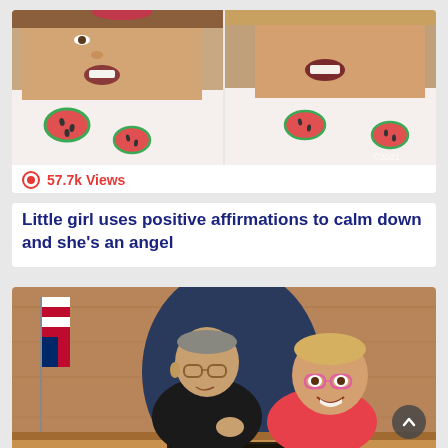[Figure (screenshot): Two side-by-side video stills of a young girl in a watermelon-print shirt, facing the camera with open mouth]
57.7k Views
Little girl uses positive affirmations to calm down and she's an angel
[Figure (photo): A judge (nameplate reads FRANK CAPRIO CHIEF JUDGE) sitting at the bench with a small girl wearing pink glasses smiling next to him, an American flag in the background]
57.7k Views